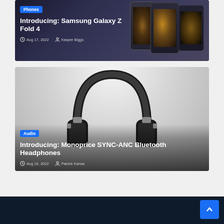[Figure (screenshot): Samsung Galaxy Z Fold 4 article card with dark background showing multiple folded phones and category badge 'Phones']
Introducing: Samsung Galaxy Z Fold 4
Aug 17, 2022  Kasper Biggs
[Figure (photo): Monoprice SYNC-ANC Bluetooth Headphones shown on grey gradient background with category badge 'Audio']
Introducing: Monoprice SYNC-ANC Bluetooth Headphones
Aug 16, 2022  Patrick Kansa